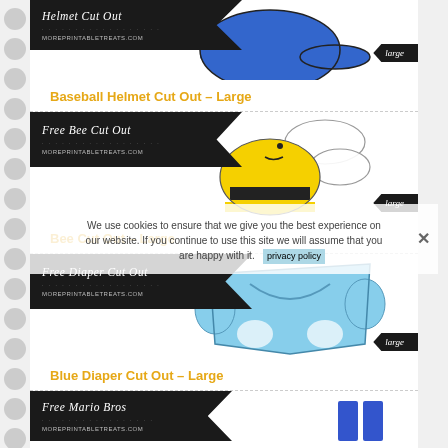[Figure (illustration): Baseball Helmet Cut Out printable card with dark banner showing 'Helmet Cut Out' and 'moreprintabletreats.com', blue helmet illustration, 'large' ribbon tag]
Baseball Helmet Cut Out – Large
[Figure (illustration): Free Bee Cut Out printable card with dark banner showing 'Free Bee Cut Out' and 'moreprintabletreats.com', yellow and black bee illustration, 'large' ribbon tag]
Bee Cut Out – Large
[Figure (illustration): Free Diaper Cut Out printable card with dark banner showing 'Free Diaper Cut Out' and 'moreprintabletreats.com', light blue diaper illustration, 'large' ribbon tag]
We use cookies to ensure that we give you the best experience on our website. If you continue to use this site we will assume that you are happy with it.
Blue Diaper Cut Out – Large
[Figure (illustration): Free Mario Bros printable card with dark banner showing 'Free Mario Bros' and moreprintabletreats.com branding]